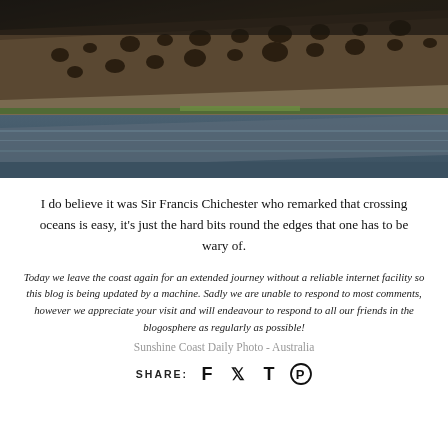[Figure (photo): Close-up photograph of coastal rocks with honeycomb erosion patterns, water reflections, and a strip of green algae/sea grass along the water line.]
I do believe it was Sir Francis Chichester who remarked that crossing oceans is easy, it’s just the hard bits round the edges that one has to be wary of.
Today we leave the coast again for an extended journey without a reliable internet facility so this blog is being updated by a machine. Sadly we are unable to respond to most comments, however we appreciate your visit and will endeavour to respond to all our friends in the blogosphere as regularly as possible!
Sunshine Coast Daily Photo - Australia
SHARE: